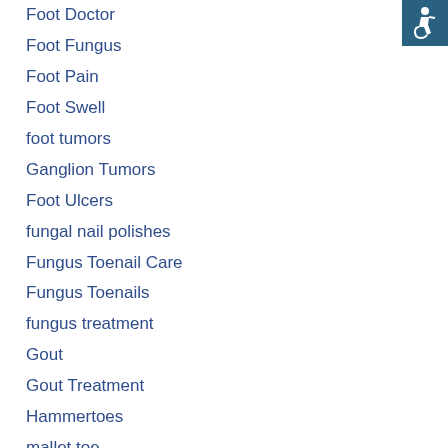Foot Doctor
Foot Fungus
Foot Pain
Foot Swell
foot tumors
Ganglion Tumors
Foot Ulcers
fungal nail polishes
Fungus Toenail Care
Fungus Toenails
fungus treatment
Gout
Gout Treatment
Hammertoes
mallet toe
heel pain
Heel Pain in Children
[Figure (logo): Accessibility icon — white wheelchair user symbol on teal/dark blue square background]